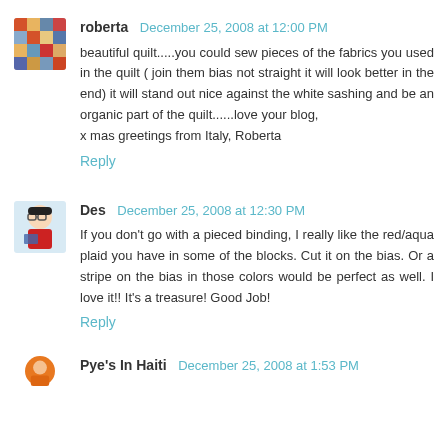[Figure (photo): Avatar image of roberta - appears to be a patchwork quilt fabric photo]
roberta  December 25, 2008 at 12:00 PM
beautiful quilt.....you could sew pieces of the fabrics you used in the quilt ( join them bias not straight it will look better in the end) it will stand out nice against the white sashing and be an organic part of the quilt......love your blog,
x mas greetings from Italy, Roberta
Reply
[Figure (illustration): Avatar image of Des - cartoon style illustration of a girl]
Des  December 25, 2008 at 12:30 PM
If you don't go with a pieced binding, I really like the red/aqua plaid you have in some of the blocks. Cut it on the bias.  Or a stripe on the bias in those colors would be perfect as well. I love it!! It's a treasure! Good Job!
Reply
[Figure (photo): Partial avatar of Pye's In Haiti]
Pye's In Haiti  December 25, 2008 at 1:53 PM